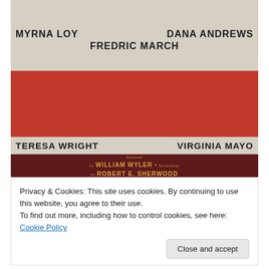[Figure (photo): Movie poster showing actors Myrna Loy, Fredric March, Dana Andrews, Teresa Wright, Virginia Mayo. Text shows directed by William Wyler, screenplay by Robert E. Sherwood. Dark red credits bar at bottom of poster.]
Privacy & Cookies: This site uses cookies. By continuing to use this website, you agree to their use.
To find out more, including how to control cookies, see here: Cookie Policy
Close and accept
RKO Radio Pictures